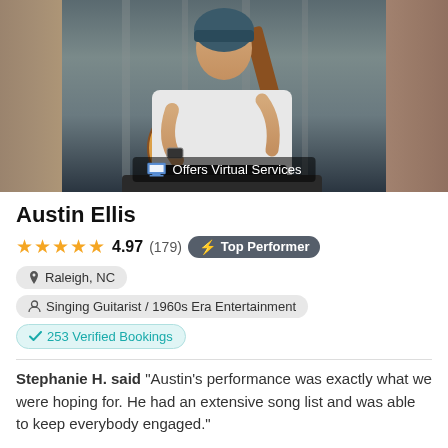[Figure (photo): Young man wearing a teal knit beanie playing an acoustic guitar, seated on a dark couch. He is wearing a white graphic t-shirt and a watch. Wooden background visible.]
Austin Ellis
★★★★★ 4.97 (179) ⚡ Top Performer
📍 Raleigh, NC
👤 Singing Guitarist / 1960s Era Entertainment
✓ 253 Verified Bookings
Stephanie H. said "Austin's performance was exactly what we were hoping for. He had an extensive song list and was able to keep everybody engaged."